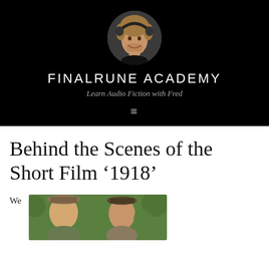[Figure (photo): Circular avatar photo of a smiling man with medium-length hair and headphones, on a black background header.]
FINALRUNE ACADEMY
Learn Audio Fiction with Fred
[Figure (other): Hamburger menu icon (three horizontal lines) in white on black background.]
Behind the Scenes of the Short Film ‘1918’
We
[Figure (photo): Partial photo showing two people, one wearing a hat, outdoors with green foliage in background.]